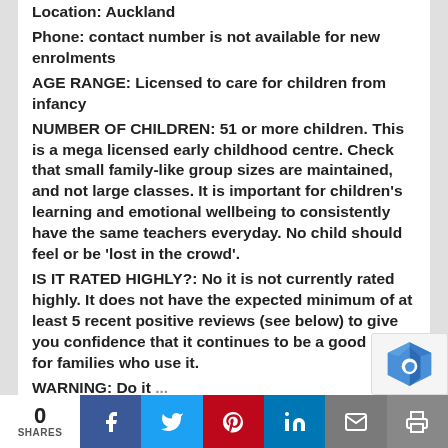Location: Auckland
Phone: contact number is not available for new enrolments
AGE RANGE: Licensed to care for children from infancy
NUMBER OF CHILDREN: 51 or more children. This is a mega licensed early childhood centre. Check that small family-like group sizes are maintained, and not large classes. It is important for children's learning and emotional wellbeing to consistently have the same teachers everyday. No child should feel or be 'lost in the crowd'.
IS IT RATED HIGHLY?: No it is not currently rated highly. It does not have the expected minimum of at least 5 recent positive reviews (see below) to give you confidence that it continues to be a good one for families who use it.
WARNING: Do not...
0 SHARES | Facebook | Twitter | Pinterest | LinkedIn | Email | Print